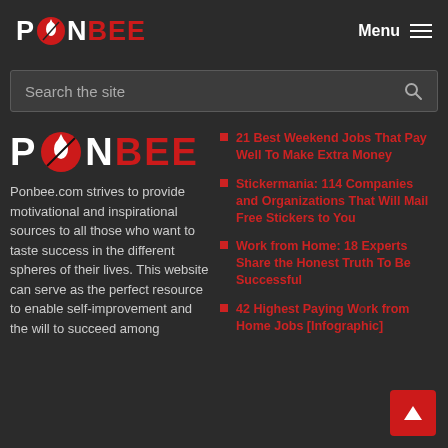PONBEE — Menu
Search the site
[Figure (logo): PONBEE logo with red circular icon and white/red lettering]
Ponbee.com strives to provide motivational and inspirational sources to all those who want to taste success in the different spheres of their lives. This website can serve as the perfect resource to enable self-improvement and the will to succeed among
21 Best Weekend Jobs That Pay Well To Make Extra Money
Stickermania: 114 Companies and Organizations That Will Mail Free Stickers to You
Work from Home: 18 Experts Share the Honest Truth To Be Successful
42 Highest Paying Work from Home Jobs [Infographic]